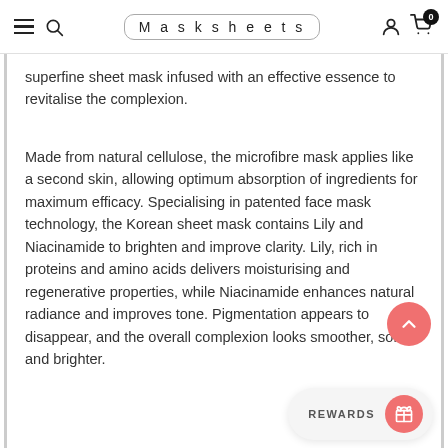Masksheets
superfine sheet mask infused with an effective essence to revitalise the complexion.
Made from natural cellulose, the microfibre mask applies like a second skin, allowing optimum absorption of ingredients for maximum efficacy. Specialising in patented face mask technology, the Korean sheet mask contains Lily and Niacinamide to brighten and improve clarity. Lily, rich in proteins and amino acids delivers moisturising and regenerative properties, while Niacinamide enhances natural radiance and improves tone. Pigmentation appears to disappear, and the overall complexion looks smoother, softer and brighter.
REWARDS